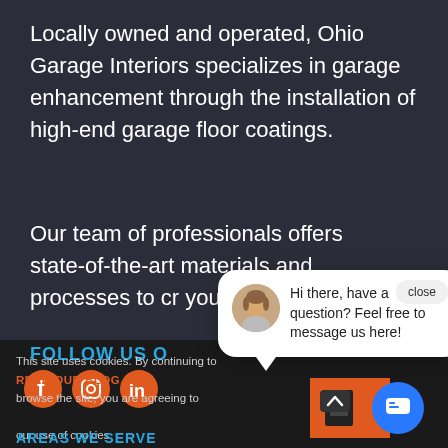Locally owned and operated, Ohio Garage Interiors specializes in garage enhancement through the installation of high-end garage floor coatings.
Our team of professionals offers state-of-the-art materials and processes to cr your dream
FOLLOW US O
[Figure (infographic): Social media icons: Facebook, Instagram, LinkedIn]
This site uses cookies. By continuing to browse the site, you are agreeing to our use of cookies.
READ OUR BLOG
AREAS WE SERVE
[Figure (screenshot): Chat popup with avatar photo of a woman and message: Hi there, have a question? Feel free to message us here!]
close